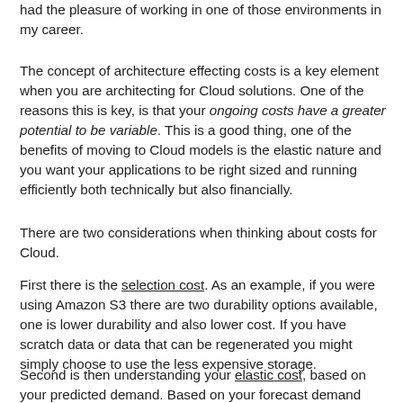had the pleasure of working in one of those environments in my career.
The concept of architecture effecting costs is a key element when you are architecting for Cloud solutions. One of the reasons this is key, is that your ongoing costs have a greater potential to be variable. This is a good thing, one of the benefits of moving to Cloud models is the elastic nature and you want your applications to be right sized and running efficiently both technically but also financially.
There are two considerations when thinking about costs for Cloud.
First there is the selection cost. As an example, if you were using Amazon S3 there are two durability options available, one is lower durability and also lower cost. If you have scratch data or data that can be regenerated you might simply choose to use the less expensive storage.
Second is then understanding your elastic cost, based on your predicted demand. Based on your forecast demand